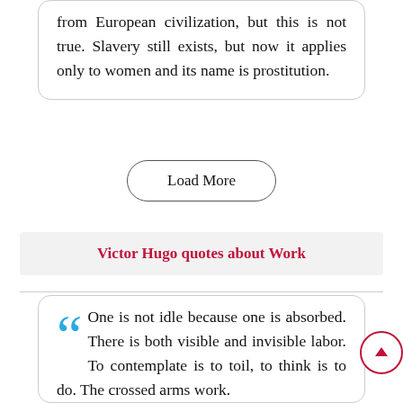from European civilization, but this is not true. Slavery still exists, but now it applies only to women and its name is prostitution.
Load More
Victor Hugo quotes about Work
One is not idle because one is absorbed. There is both visible and invisible labor. To contemplate is to toil, to think is to do. The crossed arms work.